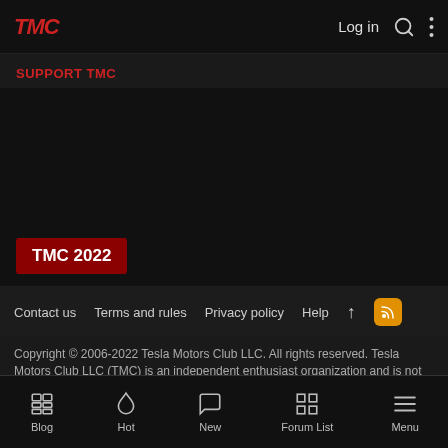TMC  Log in  [search icon]  [menu icon]
SUPPORT TMC
[Figure (other): Dark placeholder area in TMC website]
TMC 2022
Contact us  Terms and rules  Privacy policy  Help  [up arrow]  [RSS icon]
Copyright © 2006-2022 Tesla Motors Club LLC. All rights reserved. Tesla Motors Club LLC (TMC) is an independent enthusiast organization and is not affiliated with Tesla Motors, Inc. or its subsidiaries. TESLA, TESLA MOTORS, TESLA ROADSTER, MODEL S, MODEL X, and the “TESLA,” “T” and “TESLA and T in Crest” designs are trademarks or registered trademarks of Tesla Motors, Inc. in the United States and other countries.
Blog  Hot  New  Forum List  Menu